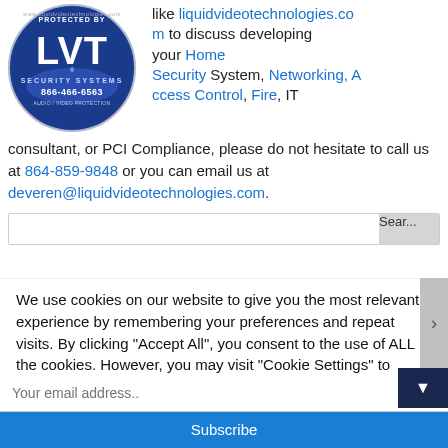[Figure (logo): LVT Security Systems circular logo badge, dark blue, with text 'PROTECTED BY', 'LVT', 'SECURITY SYSTEMS', '866-466-6563', 'AUDIO/VIDEO PROTECTION']
like liquidvideotechnologies.com to discuss developing your Home Security System, Networking, Access Control, Fire, IT consultant, or PCI Compliance, please do not hesitate to call us at 864-859-9848 or you can email us at deveren@liquidvideotechnologies.com.
We use cookies on our website to give you the most relevant experience by remembering your preferences and repeat visits. By clicking "Accept All", you consent to the use of ALL the cookies. However, you may visit "Cookie Settings" to
Keep Up With Security & Technology. Follow Us Now!
Your email address..
Subscribe